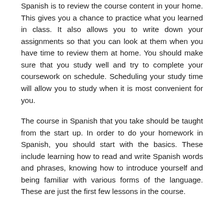Spanish is to review the course content in your home. This gives you a chance to practice what you learned in class. It also allows you to write down your assignments so that you can look at them when you have time to review them at home. You should make sure that you study well and try to complete your coursework on schedule. Scheduling your study time will allow you to study when it is most convenient for you.
The course in Spanish that you take should be taught from the start up. In order to do your homework in Spanish, you should start with the basics. These include learning how to read and write Spanish words and phrases, knowing how to introduce yourself and being familiar with various forms of the language. These are just the first few lessons in the course.